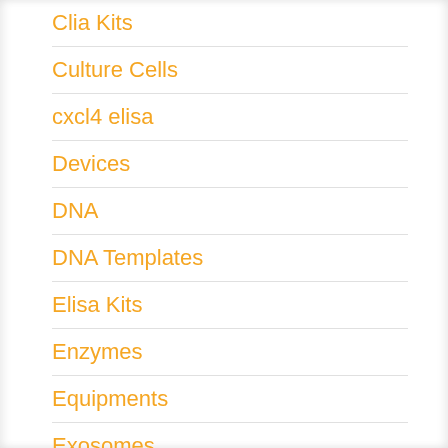Clia Kits
Culture Cells
cxcl4 elisa
Devices
DNA
DNA Templates
Elisa Kits
Enzymes
Equipments
Exosomes